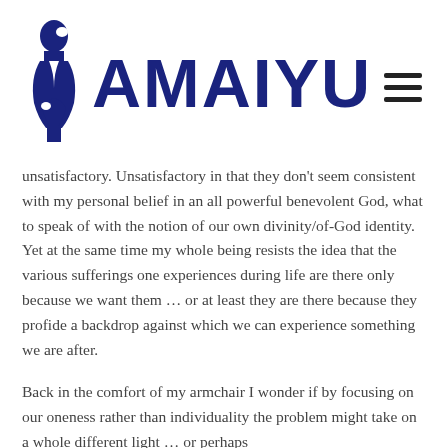[Figure (logo): AMAIYU logo with blue stylized double-face silhouette icon and bold blue AMAIYU text, plus hamburger menu icon on the right]
unsatisfactory. Unsatisfactory in that they don't seem consistent with my personal belief in an all powerful benevolent God, what to speak of with the notion of our own divinity/of-God identity. Yet at the same time my whole being resists the idea that the various sufferings one experiences during life are there only because we want them … or at least they are there because they profide a backdrop against which we can experience something we are after.
Back in the comfort of my armchair I wonder if by focusing on our oneness rather than individuality the problem might take on a whole different light … or perhaps